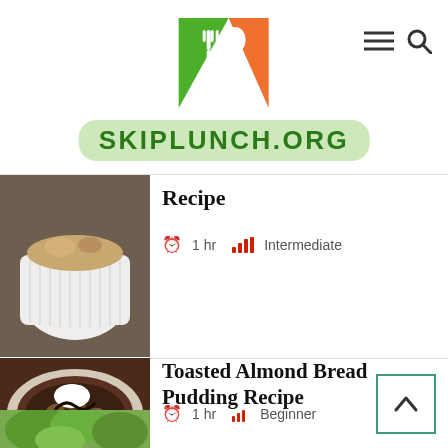[Figure (logo): SkipLunch.org logo with fork and spoon icon and green text on light green rounded rectangle background]
[Figure (photo): Top portion of a baked dish in a white ramekin, partially cut off at top]
Recipe
1 hr  Intermediate
[Figure (photo): Toasted almond bread pudding in a dark brown bowl topped with whipped cream]
Toasted Almond Bread Pudding Recipe
1 hr  Beginner
[Figure (photo): Partial view of a green salad at the bottom of the page]